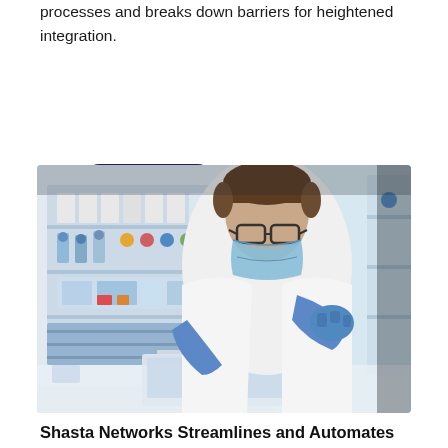processes and breaks down barriers for heightened integration.
Read more >
[Figure (photo): A scientist or lab technician wearing a white coat, blue gloves, safety glasses, and a surgical face mask, leaning over a laptop in a laboratory setting with shelves of lab supplies and colorful vials in the background.]
Shasta Networks Streamlines and Automates